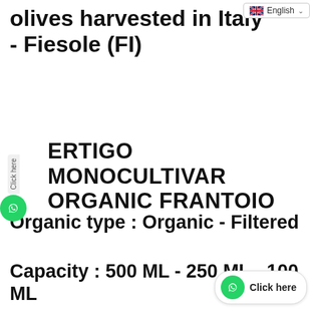English
olives harvested in Italy - Fiesole (FI)
ERTIGO MONOCULTIVAR ORGANIC FRANTOIO
Organic type : Organic - Filtered
Capacity : 500 ML - 250 ML - 100 ML